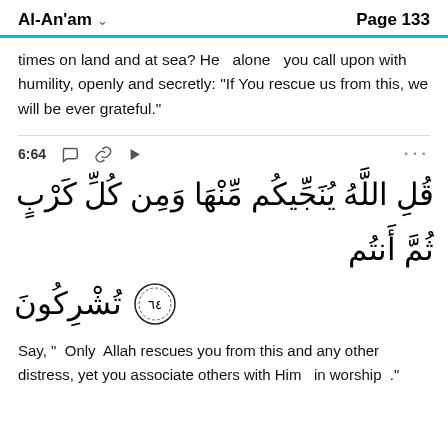Al-An'am  Page 133
times on land and at sea? He  alone  you call upon with humility, openly and secretly: “If You rescue us from this, we will be ever grateful.”
6:64
[Figure (other): Arabic Quran verse 6:64: قُلِ اللَّهُ يُنَجِّيكُم مِّنْهَا وَمِن كُلِّ كَرْبٍ ثُمَّ أَنتُمْ تُشْرِكُونَ with verse number 64 in decorative circle]
Say, “ Only  Allah rescues you from this and any other distress, yet you associate others with Him  in worship ."